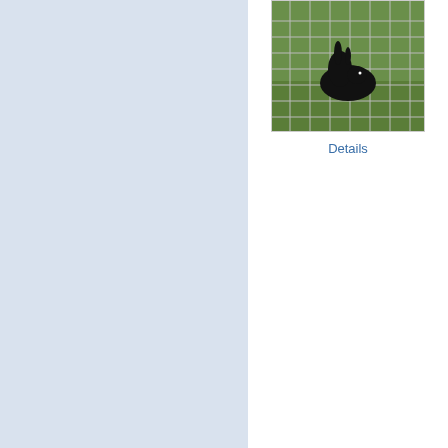[Figure (photo): Photo of a black rabbit behind electric netting fence in a grassy field]
Details
Electric Nett
[Figure (logo): Made in the USA flag badge]
Semi-rigid v graduated s
Easy to set
10 horizonta height,3½" spacing
Double-spik are built int
Ideal for pr from critters
Featured Items
[Figure (photo): Photo of a yellow spool/reel of Parmak 1/2 inch electric fence ribbon tape]
Parmak ½"
½" electric f
656' roll
Ideal for te and rotatio
6 heavy-du